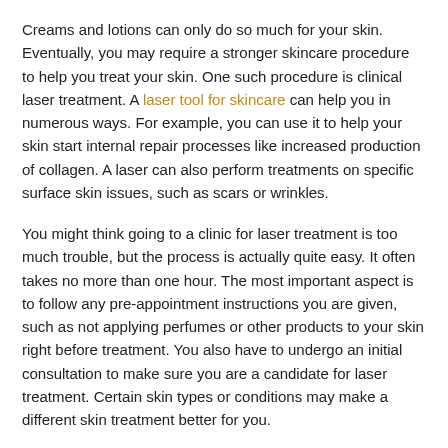Creams and lotions can only do so much for your skin. Eventually, you may require a stronger skincare procedure to help you treat your skin. One such procedure is clinical laser treatment. A laser tool for skincare can help you in numerous ways. For example, you can use it to help your skin start internal repair processes like increased production of collagen. A laser can also perform treatments on specific surface skin issues, such as scars or wrinkles.
You might think going to a clinic for laser treatment is too much trouble, but the process is actually quite easy. It often takes no more than one hour. The most important aspect is to follow any pre-appointment instructions you are given, such as not applying perfumes or other products to your skin right before treatment. You also have to undergo an initial consultation to make sure you are a candidate for laser treatment. Certain skin types or conditions may make a different skin treatment better for you.